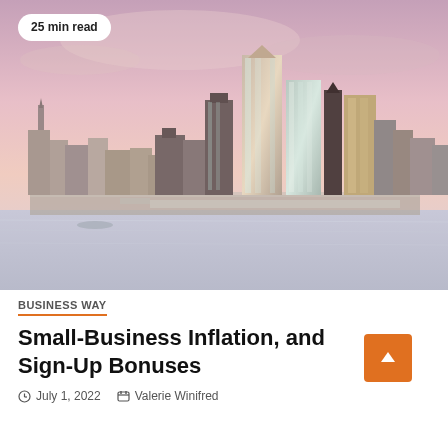[Figure (photo): Aerial/waterfront view of New York City skyline at dusk/sunset with pink and purple sky, tall skyscrapers including Hudson Yards visible, water in foreground]
25 min read
BUSINESS WAY
Small-Business Inflation, and Sign-Up Bonuses
July 1, 2022   Valerie Winifred